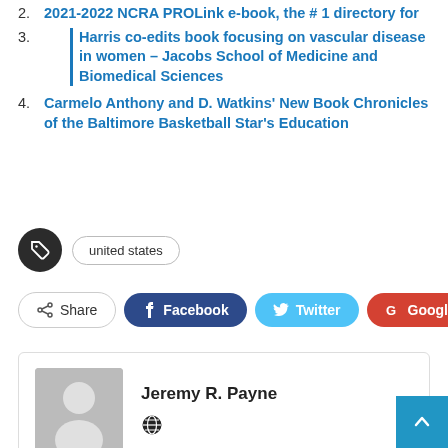2. 2021-2022 NCRA PROLink e-book, the # 1 directory for
3. Harris co-edits book focusing on vascular disease in women – Jacobs School of Medicine and Biomedical Sciences
4. Carmelo Anthony and D. Watkins' New Book Chronicles of the Baltimore Basketball Star's Education
united states
Share  Facebook  Twitter  Google+
Jeremy R. Payne